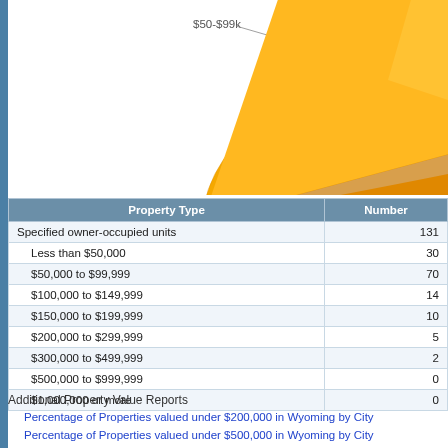[Figure (pie-chart): Partial 3D pie chart showing property value distribution, with large orange segment labeled $50-$99k visible]
| Property Type | Number |
| --- | --- |
| Specified owner-occupied units | 131 |
| Less than $50,000 | 30 |
| $50,000 to $99,999 | 70 |
| $100,000 to $149,999 | 14 |
| $150,000 to $199,999 | 10 |
| $200,000 to $299,999 | 5 |
| $300,000 to $499,999 | 2 |
| $500,000 to $999,999 | 0 |
| $1,000,000 or more | 0 |
Additional Property Value Reports
Percentage of Properties valued under $200,000 in Wyoming by City
Percentage of Properties valued under $500,000 in Wyoming by City
Percentage of Properties valued over $500,000 in Wyoming by City
Percentage of Properties valued over $1,000,000 in Wyoming by City
Download Data